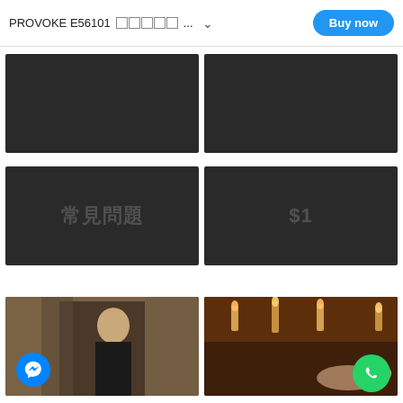PROVOKE E56101 ????? ... Buy now
[Figure (screenshot): Dark black placeholder image tile, top-left]
[Figure (screenshot): Dark black placeholder image tile, top-right]
[Figure (screenshot): Dark black tile with Chinese text '常見問題' (FAQ) watermark]
[Figure (screenshot): Dark black tile with '$1' watermark]
[Figure (photo): Woman in black outfit standing in front of ornate iron gate/door, warm tones, Messenger chat bubble overlay bottom left]
[Figure (photo): Spa/massage scene with candles in warm amber light, person lying down, WhatsApp button overlay bottom right]